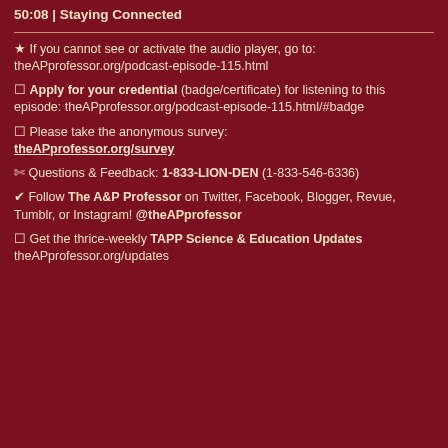50:08 | Staying Connected
★ If you cannot see or activate the audio player, go to: theAPprofessor.org/podcast-episode-115.html
🏅 Apply for your credential (badge/certificate) for listening to this episode: theAPprofessor.org/podcast-episode-115.html/#badge
🔖 Please take the anonymous survey: theAPprofessor.org/survey
📊 Questions & Feedback: 1-833-LION-DEN (1-833-546-6336)
✔ Follow The A&P Professor on Twitter, Facebook, Blogger, Revue, Tumblr, or Instagram! @theAPprofessor
🔔 Get the thrice-weekly TAPP Science & Education Updates theAPprofessor.org/updates